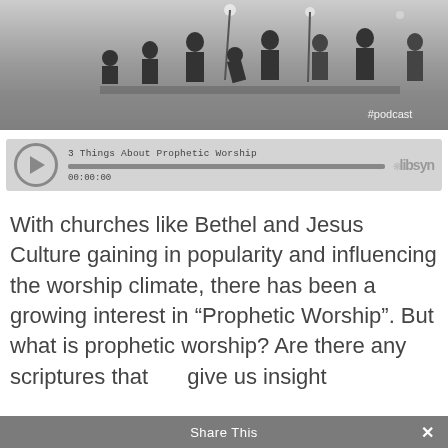[Figure (photo): Black and white photo of a worship band performing outdoors with silhouettes of multiple musicians on a stage, with '#podcast' text overlay in lower right]
[Figure (screenshot): Libsyn podcast audio player showing '3 Things About Prophetic Worship' with play button, progress bar at 00:00:00, and Libsyn logo]
With churches like Bethel and Jesus Culture gaining in popularity and influencing the worship climate, there has been a growing interest in “Prophetic Worship”. But what is prophetic worship? Are there any scriptures that can give us insight
Share This